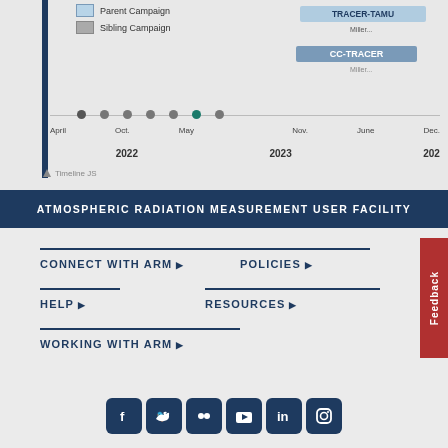[Figure (infographic): Timeline visualization showing Parent Campaign and Sibling Campaign legend, with labeled campaign bars including TRACER-TAMU and CC-TRACER, and a horizontal timeline axis with months April, Oct., May, Nov., June, Dec. and years 2022, 2023, 2024.]
ATMOSPHERIC RADIATION MEASUREMENT USER FACILITY
CONNECT WITH ARM ▶
POLICIES ▶
HELP ▶
RESOURCES ▶
WORKING WITH ARM ▶
[Figure (infographic): Social media icons row: Facebook, Twitter, Flickr, YouTube, LinkedIn, Instagram — all in dark navy blue rounded square icons.]